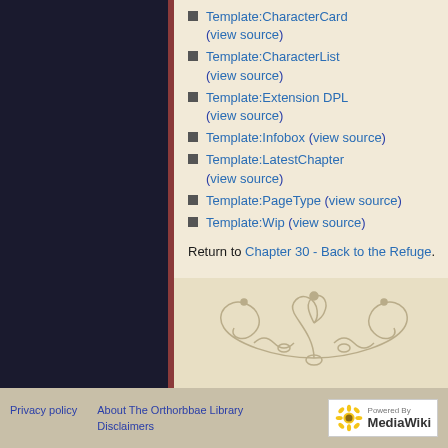Template:CharacterCard (view source)
Template:CharacterList (view source)
Template:Extension DPL (view source)
Template:Infobox (view source)
Template:LatestChapter (view source)
Template:PageType (view source)
Template:Wip (view source)
Return to Chapter 30 - Back to the Refuge.
[Figure (illustration): Decorative ornamental scrollwork design at the bottom of the page]
Privacy policy   About The Orthorbbae Library   Disclaimers   Powered By MediaWiki